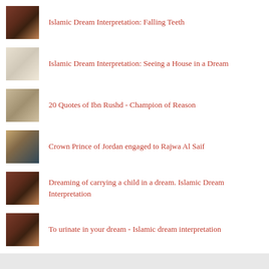Islamic Dream Interpretation: Falling Teeth
Islamic Dream Interpretation: Seeing a House in a Dream
20 Quotes of Ibn Rushd - Champion of Reason
Crown Prince of Jordan engaged to Rajwa Al Saif
Dreaming of carrying a child in a dream. Islamic Dream Interpretation
To urinate in your dream - Islamic dream interpretation